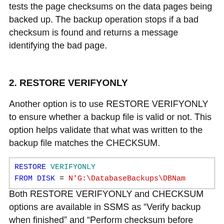tests the page checksums on the data pages being backed up. The backup operation stops if a bad checksum is found and returns a message identifying the bad page.
2. RESTORE VERIFYONLY
Another option is to use RESTORE VERIFYONLY to ensure whether a backup file is valid or not. This option helps validate that what was written to the backup file matches the CHECKSUM.
[Figure (screenshot): Code block showing: RESTORE VERIFYONLY FROM DISK = N'G:\DatabaseBackups\DBNam]
Both RESTORE VERIFYONLY and CHECKSUM options are available in SSMS as “Verify backup when finished” and “Perform checksum before writing to media”, respectively. The options help